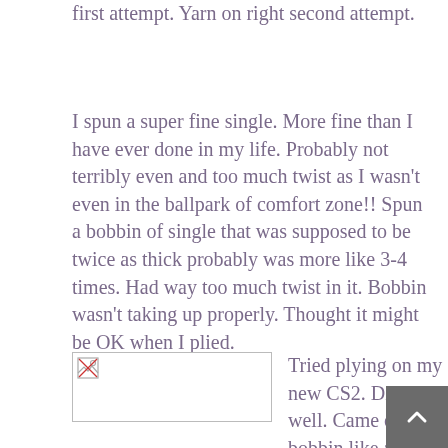first attempt. Yarn on right second attempt.
I spun a super fine single. More fine than I have ever done in my life. Probably not terribly even and too much twist as I wasn’t even in the ballpark of comfort zone!! Spun a bobbin of single that was supposed to be twice as thick probably was more like 3-4 times. Had way too much twist in it. Bobbin wasn’t taking up properly. Thought it might be OK when I plied.
[Figure (photo): Image placeholder with broken image icon in a rectangle box]
Tried plying on my new CS2. Didn’t go well. Came off bobbin like a rubber band hung around the door